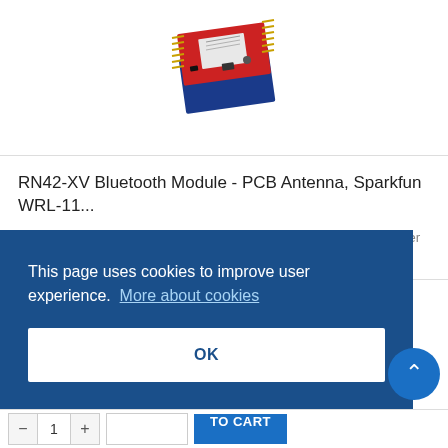[Figure (photo): Product photo of RN42-XV Bluetooth Module PCB with red and blue components and pins]
RN42-XV Bluetooth Module - PCB Antenna, Sparkfun WRL-11...
So it turns out that your XBee based device would work even better as a Bluetooth device.  that probably means bac...
This page uses cookies to improve user experience.  More about cookies
OK
1
TO CART